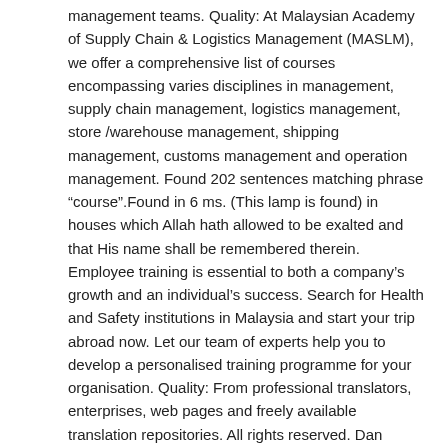management teams. Quality: At Malaysian Academy of Supply Chain & Logistics Management (MASLM), we offer a comprehensive list of courses encompassing varies disciplines in management, supply chain management, logistics management, store /warehouse management, shipping management, customs management and operation management. Found 202 sentences matching phrase "course".Found in 6 ms. (This lamp is found) in houses which Allah hath allowed to be exalted and that His name shall be remembered therein. Employee training is essential to both a company's growth and an individual's success. Search for Health and Safety institutions in Malaysia and start your trip abroad now. Let our team of experts help you to develop a personalised training programme for your organisation. Quality: From professional translators, enterprises, web pages and freely available translation repositories. All rights reserved. Dan mana-mana perempuan tua yang telah putus kedatangan haid, yang tidak mempunyai harapan berkahwin lagi maka tidak ada salahnya mereka menanggalkan pakaian luarnya, dengan tidak bertujuan mendedahkan perhiasan mereka; dalam pada itu perbuatan mereka menjaga kehormatannya (dengan tidak menanggalkan pakaian luarnya itu adalah) lebih baik bagi mereka; dan (ingatlah) Allah Maha Mendengar, lagi Maha Mengetahui. Salah seorang wakil pekerja menyatakan bahawa Reference: Anonymous, In houses which Allah has allowed to be raised up,